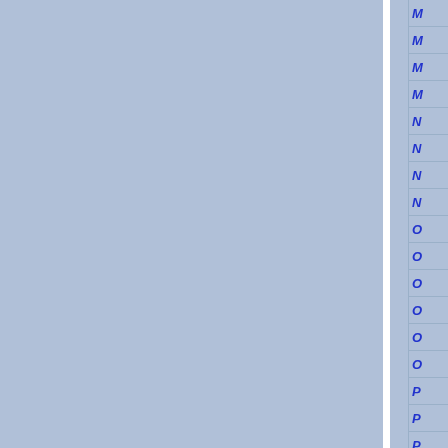[Figure (screenshot): A document or application interface showing a blue-grey background divided into two main columns by a white vertical divider. The left portion has two blue-grey panels separated by a white vertical strip. The right edge shows a narrow navigation column with partially visible italic blue letter labels: M, M, M, M, N, N, N, N, O, O, O, O, O, O, P, P, P]
M
M
M
M
N
N
N
N
O
O
O
O
O
O
P
P
P